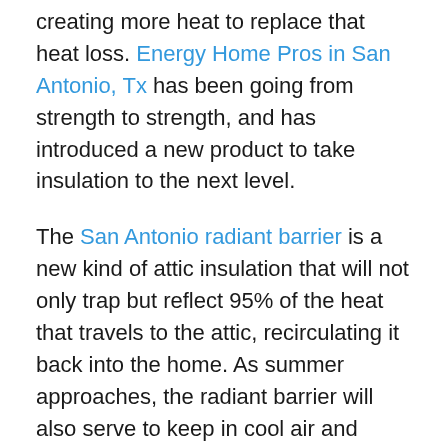creating more heat to replace that heat loss. Energy Home Pros in San Antonio, Tx has been going from strength to strength, and has introduced a new product to take insulation to the next level.
The San Antonio radiant barrier is a new kind of attic insulation that will not only trap but reflect 95% of the heat that travels to the attic, recirculating it back into the home. As summer approaches, the radiant barrier will also serve to keep in cool air and significantly reduce the hard work done by the air conditioning unit.
To help people decide on whether the radiant barrier is for them, Energy Home Pros is offering a free initial consultation to discuss how much the radiant barrier technology would cost for the home, and